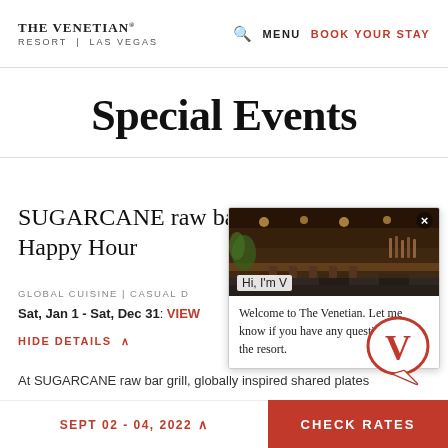THE VENETIAN RESORT | LAS VEGAS — MENU  BOOK YOUR STAY
Special Events
SUGARCANE raw bar grill Happy Hour
GLOBAL CUISINE | CASUAL D
Sat, Jan 1 - Sat, Dec 31: VIEW
[Figure (photo): Interior of SUGARCANE raw bar grill restaurant showing bar seating and plant decor]
Hi, I'm V
Welcome to The Venetian. Let me know if you have any questions about the resort.
[Figure (logo): The Venetian V logo in red circle speech bubble]
HIDE DETAILS ^
At SUGARCANE raw bar grill, globally inspired shared plates
SEPT 02 - 04, 2022  ^    CHECK RATES